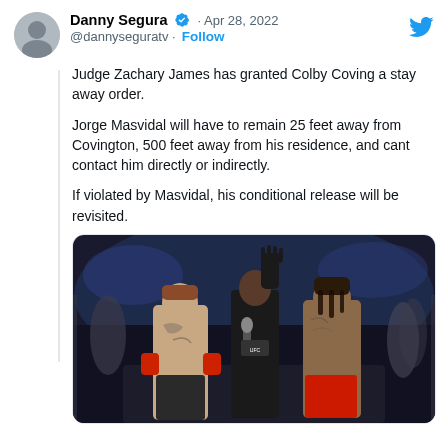Danny Segura @dannyseguratv · Apr 28, 2022 · Follow
Judge Zachary James has granted Colby Coving a stay away order.

Jorge Masvidal will have to remain 25 feet away from Covington, 500 feet away from his residence, and cant contact him directly or indirectly.

If violated by Masvidal, his conditional release will be revisited.
[Figure (photo): Two MMA fighters facing each other in an octagon/arena setting, with a referee or announcer standing between them holding a microphone. The left fighter has tattoos and red gloves, the right fighter is shirtless wearing red shorts. Arena crowd and lighting visible in background.]